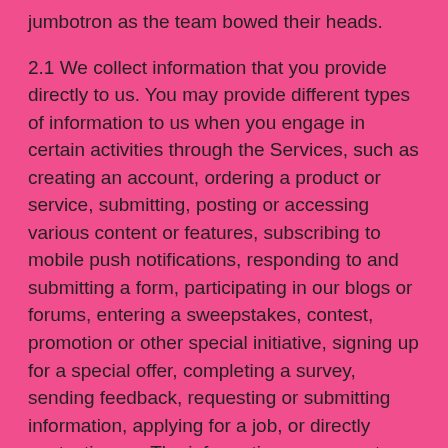jumbotron as the team bowed their heads.
2.1 We collect information that you provide directly to us. You may provide different types of information to us when you engage in certain activities through the Services, such as creating an account, ordering a product or service, submitting, posting or accessing various content or features, subscribing to mobile push notifications, responding to and submitting a form, participating in our blogs or forums, entering a sweepstakes, contest, promotion or other special initiative, signing up for a special offer, completing a survey, sending feedback, requesting or submitting information, applying for a job, or directly contacting us. The information we request includes, but is not limited to, your name, email address, mailing address, telephone number, age, and demographic information. It is optional for you to engage in such activity; however, if you choose to do so, we may not be able to permit you to participate in the activity unless certain pieces of information are provided. 2.5 We currently use a third party for payment processing. We do not receive or store your credit card or bank account information, and we do not want you to